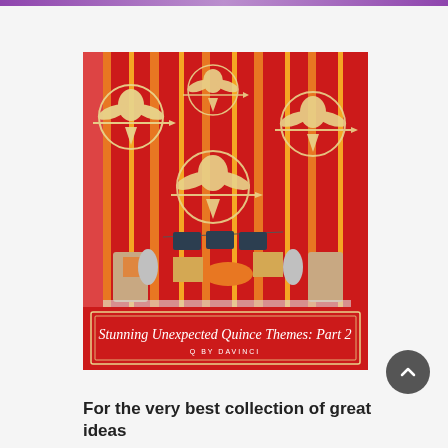[Figure (photo): A Hunger Games themed quinceanera party setup with red and orange striped backdrop, golden mockingjay symbols hanging in circles, and a dessert table. Text overlay reads: 'Stunning Unexpected Quince Themes: Part 2 / Q by DaVinci']
For the very best collection of great ideas